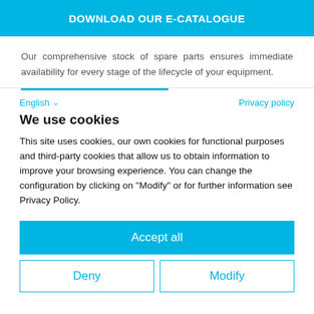DOWNLOAD OUR E-CATALOGUE
Our comprehensive stock of spare parts ensures immediate availability for every stage of the lifecycle of your equipment.
English ∨   Privacy policy
We use cookies
This site uses cookies, our own cookies for functional purposes and third-party cookies that allow us to obtain information to improve your browsing experience. You can change the configuration by clicking on "Modify" or for further information see Privacy Policy.
Accept all
Deny   Modify